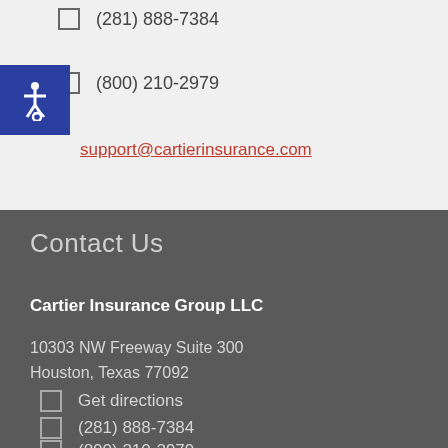(281) 888-7384
(800) 210-2979
support@cartierinsurance.com
Contact Us
Cartier Insurance Group LLC
10303 NW Freeway Suite 300
Houston, Texas 77092
Get directions
(281) 888-7384
(800) 210-2979